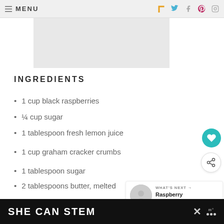MENU
[Figure (other): Gray advertisement placeholder box]
INGREDIENTS
1 cup black raspberries
¼ cup sugar
1 tablespoon fresh lemon juice
1 cup graham cracker crumbs
1 tablespoon sugar
2 tablespoons butter, melted
8 oz cream cheese, softened at room temperature
SHE CAN STEM